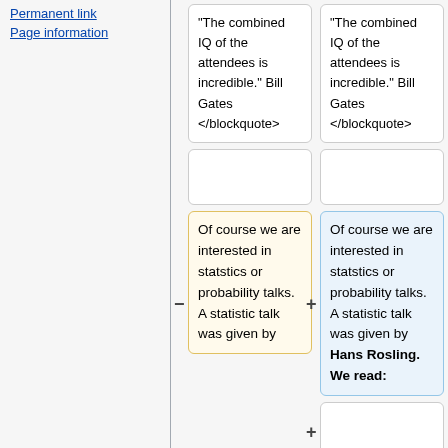Permanent link
Page information
"The combined IQ of the attendees is incredible." Bill Gates </blockquote>
"The combined IQ of the attendees is incredible." Bill Gates </blockquote>
(empty boxes)
Of course we are interested in statstics or probability talks. A statistic talk was given by
Of course we are interested in statstics or probability talks. A statistic talk was given by Hans Rosling. We read:
(empty box with plus marker)
Even the most worldly and well-traveled